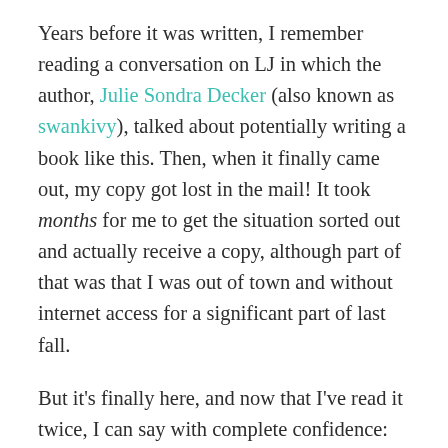Years before it was written, I remember reading a conversation on LJ in which the author, Julie Sondra Decker (also known as swankivy), talked about potentially writing a book like this. Then, when it finally came out, my copy got lost in the mail! It took months for me to get the situation sorted out and actually receive a copy, although part of that was that I was out of town and without internet access for a significant part of last fall.
But it's finally here, and now that I've read it twice, I can say with complete confidence: it's excellent!
Before we continue, please note: Although I've been part of the ace community for a long time, and spent a bit of that time talking to the author several years ago, I was not in any way involved with the creation of this